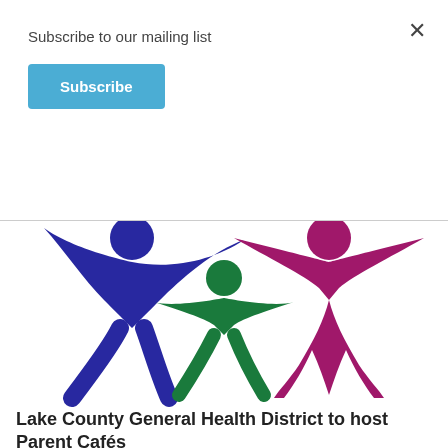Subscribe to our mailing list
Subscribe
[Figure (illustration): Three stylized human figures holding hands in a circle — a blue adult figure on the left with arms raised, a green child figure in the center, and a magenta/pink adult figure on the right with arms raised]
Lake County General Health District to host Parent Cafés
Oct 08, 2018 12:12PM
Parent Café is a safe, informal gathering where